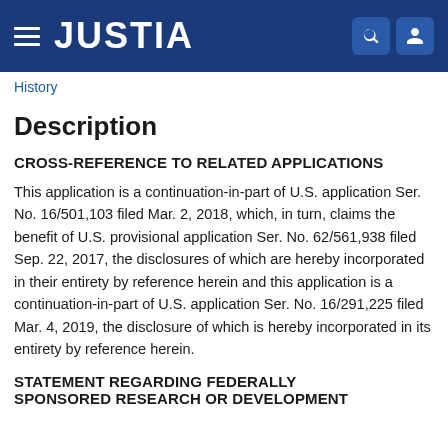JUSTIA
History
Description
CROSS-REFERENCE TO RELATED APPLICATIONS
This application is a continuation-in-part of U.S. application Ser. No. 16/501,103 filed Mar. 2, 2018, which, in turn, claims the benefit of U.S. provisional application Ser. No. 62/561,938 filed Sep. 22, 2017, the disclosures of which are hereby incorporated in their entirety by reference herein and this application is a continuation-in-part of U.S. application Ser. No. 16/291,225 filed Mar. 4, 2019, the disclosure of which is hereby incorporated in its entirety by reference herein.
STATEMENT REGARDING FEDERALLY SPONSORED RESEARCH OR DEVELOPMENT